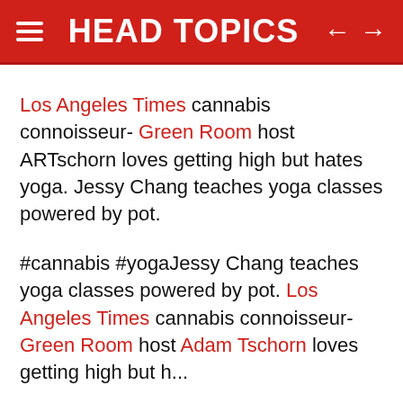HEAD TOPICS
Los Angeles Times cannabis connoisseur- Green Room host ARTschorn loves getting high but hates yoga. Jessy Chang teaches yoga classes powered by pot.
#cannabis #yogaJessy Chang teaches yoga classes powered by pot. Los Angeles Times cannabis connoisseur- Green Room host Adam Tschorn loves getting high but h...